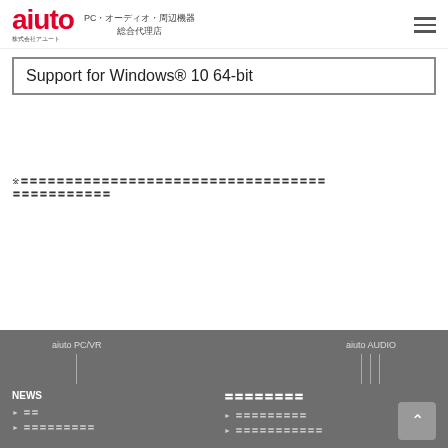aiuto PC・オーディオ・周辺機器 総合代理店
Support for Windows® 10 64-bit
※〓〓〓〓〓〓〓〓〓〓〓〓〓〓〓〓〓〓〓〓〓〓〓〓〓〓〓〓〓〓〓〓〓〓〓〓〓〓〓〓〓〓〓〓〓〓〓〓〓〓〓〓〓〓〓〓〓〓〓〓
aiuto PC/VR    aiuto AUDIO    NEWS    〓〓〓〓〓〓〓〓